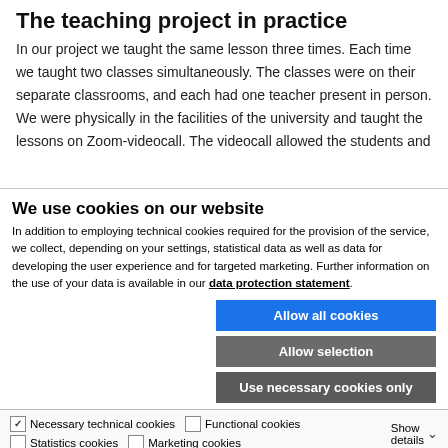The teaching project in practice
In our project we taught the same lesson three times. Each time we taught two classes simultaneously. The classes were on their separate classrooms, and each had one teacher present in person. We were physically in the facilities of the university and taught the lessons on Zoom-videocall. The videocall allowed the students and
We use cookies on our website
In addition to employing technical cookies required for the provision of the service, we collect, depending on your settings, statistical data as well as data for developing the user experience and for targeted marketing. Further information on the use of your data is available in our data protection statement.
Allow all cookies
Allow selection
Use necessary cookies only
Necessary technical cookies   Functional cookies   Statistics cookies   Marketing cookies   Show details